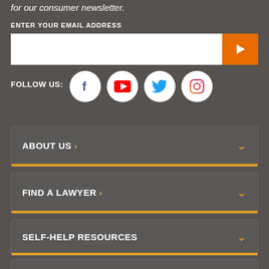for our consumer newsletter.
ENTER YOUR EMAIL ADDRESS
[Figure (screenshot): Email input field with orange submit button containing a right arrow]
FOLLOW US:
[Figure (infographic): Social media icons: Facebook, YouTube, Twitter, Instagram]
ABOUT US >
FIND A LAWYER >
SELF-HELP RESOURCES
LEGAL RESEARCH